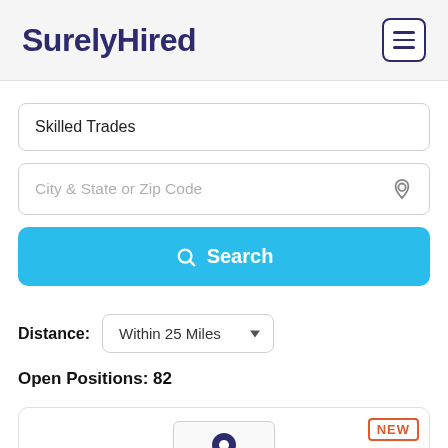SurelyHired
Skilled Trades
City & State or Zip Code
Search
Distance: Within 25 Miles
Open Positions: 82
[Figure (screenshot): Partial job listing card with NEW badge and map thumbnail showing a location pin]